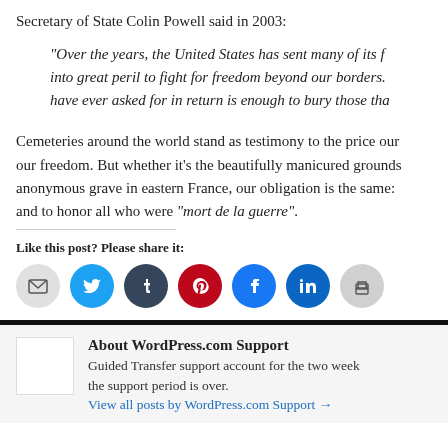Secretary of State Colin Powell said in 2003:
“Over the years, the United States has sent many of its finest men and women into great peril to fight for freedom beyond our borders. And all we have ever asked for in return is enough to bury those that did not return.”
Cemeteries around the world stand as testimony to the price our soldiers paid for our freedom. But whether it’s the beautifully manicured grounds or an anonymous grave in eastern France, our obligation is the same: to remember and to honor all who were “mort de la guerre”.
Like this post? Please share it:
[Figure (infographic): Row of social share buttons: email (gray), Twitter (blue), Tumblr (dark navy), Pinterest (red), Facebook (blue), LinkedIn (teal), print (light gray)]
About WordPress.com Support
Guided Transfer support account for the two week support period. Access expires once the support period is over.
View all posts by WordPress.com Support →